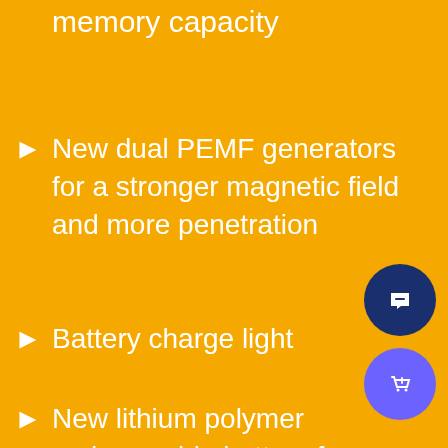memory capacity
New dual PEMF generators for a stronger magnetic field and more penetration
Battery charge light
New lithium polymer rechargeable battery for a higher charge capacity, shorter charge time, and longer cell life (up to 5+ years)